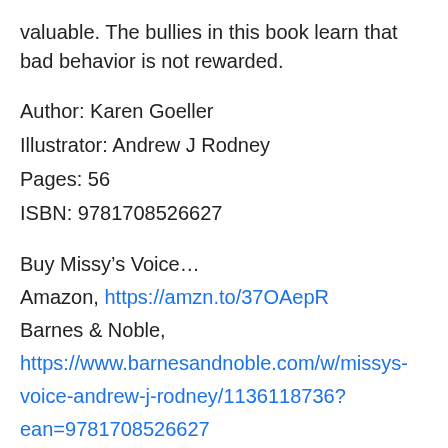valuable. The bullies in this book learn that bad behavior is not rewarded.
Author: Karen Goeller
Illustrator: Andrew J Rodney
Pages: 56
ISBN: 9781708526627
Buy Missy’s Voice…
Amazon, https://amzn.to/37OAepR
Barnes & Noble,
https://www.barnesandnoble.com/w/missys-voice-andrew-j-rodney/1136118736?ean=9781708526627
Click here to read an interview with author, Karen Goeller
Be kind. You do not know what else is happening in